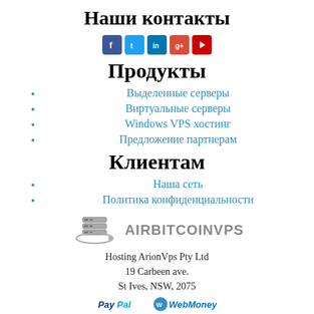Наши контакты
[Figure (infographic): Social media icons: Facebook, Twitter, LinkedIn, Google+, YouTube]
Продукты
Выделенные серверы
Виртуальные серверы
Windows VPS хостинг
Предложение партнерам
Клиентам
Наша сеть
Политика конфиденциальности
[Figure (logo): AirBitcoinVPS logo with server/planet icon]
Hosting ArionVps Pty Ltd
19 Carbeen ave.
St Ives, NSW, 2075
[Figure (logo): PayPal and WebMoney payment logos]